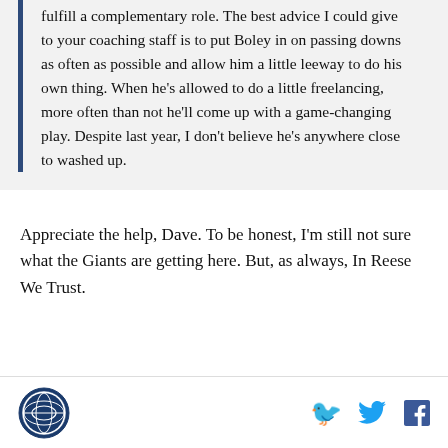fulfill a complementary role. The best advice I could give to your coaching staff is to put Boley in on passing downs as often as possible and allow him a little leeway to do his own thing. When he's allowed to do a little freelancing, more often than not he'll come up with a game-changing play. Despite last year, I don't believe he's anywhere close to washed up.
Appreciate the help, Dave. To be honest, I'm still not sure what the Giants are getting here. But, as always, In Reese We Trust.
[Figure (logo): Circular sports network logo with globe/football design]
Social share icons: Twitter, Facebook